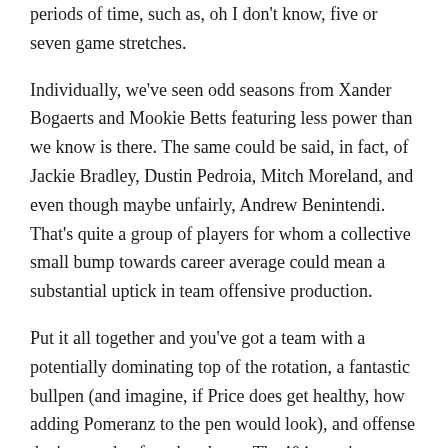periods of time, such as, oh I don't know, five or seven game stretches.
Individually, we've seen odd seasons from Xander Bogaerts and Mookie Betts featuring less power than we know is there. The same could be said, in fact, of Jackie Bradley, Dustin Pedroia, Mitch Moreland, and even though maybe unfairly, Andrew Benintendi. That's quite a group of players for whom a collective small bump towards career average could mean a substantial uptick in team offensive production.
Put it all together and you've got a team with a potentially dominating top of the rotation, a fantastic bullpen (and imagine, if Price does get healthy, how adding Pomeranz to the pen would look), and offense that's over due for a break out. The '04 team's comeback against the Yankees, the '07 team's comeback against the Indians, and pretty much every damn thing about the 2013 team teach us that in the baseball playoffs you never know what can happen. But it's not all luck, despite Billy Beane's famous statement. Having Madison Bumgarner can help. Having Keith